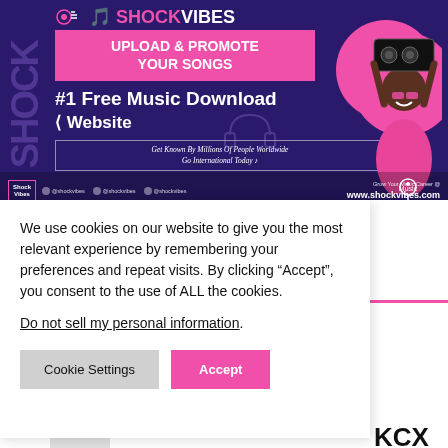[Figure (screenshot): ShockVibes website banner advertisement with dark purple background, pink accents, a man holding a boombox overhead in a pink circle, and text promoting music upload and download services. Logo reads SHOCKVIBES. Text includes 'UPLOAD & PROMOTE YOUR SONGS', '#1 Free Music Download Website', 'Get Known By Millions Of People Worldwide', 'Go International Today', social media handles, and 'Grow Your Music Career @ www.shockvibes.com'.]
We use cookies on our website to give you the most relevant experience by remembering your preferences and repeat visits. By clicking “Accept”, you consent to the use of ALL the cookies.
Do not sell my personal information.
KCX